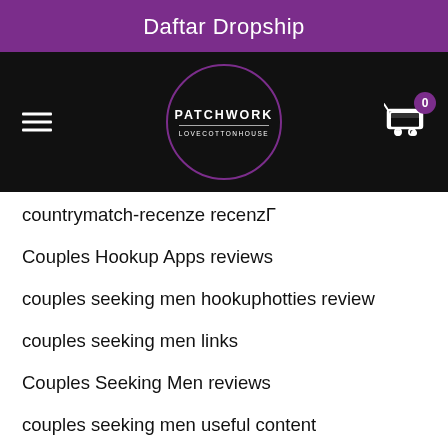Daftar Dropship
[Figure (logo): Patchwork Love Cotton House logo in circle on black navigation bar with hamburger menu and cart icon showing 0 items]
countrymatch-recenze recenzГ
Couples Hookup Apps reviews
couples seeking men hookuphotties review
couples seeking men links
Couples Seeking Men reviews
couples seeking men useful content
Craiglist Hookup reviews
craigslist hookup for free